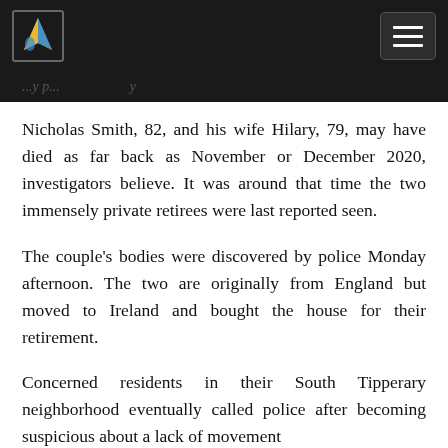[navigation bar with logo and menu]
Nicholas Smith, 82, and his wife Hilary, 79, may have died as far back as November or December 2020, investigators believe. It was around that time the two immensely private retirees were last reported seen.
The couple's bodies were discovered by police Monday afternoon. The two are originally from England but moved to Ireland and bought the house for their retirement.
Concerned residents in their South Tipperary neighborhood eventually called police after becoming suspicious about a lack of movement...